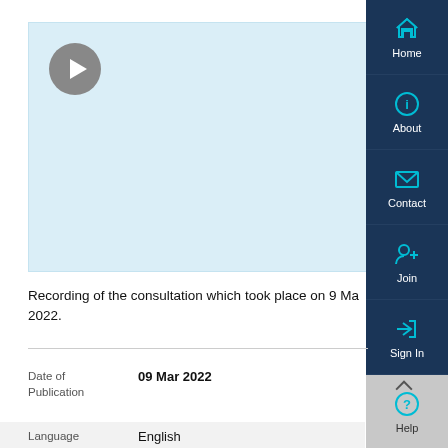[Figure (screenshot): Video player panel with light blue background and a grey circular play button in the top-left corner]
[Figure (screenshot): Right-side navigation sidebar with dark navy blue background containing icons and labels: Home (house icon), About (circle-i icon), Contact (envelope icon), Join (person-plus icon), Sign In (arrow-right-bracket icon), Help (question mark icon)]
Recording of the consultation which took place on 9 Mar 2022.
| Field | Value |
| --- | --- |
| Date of Publication | 09 Mar 2022 |
| Language | English |